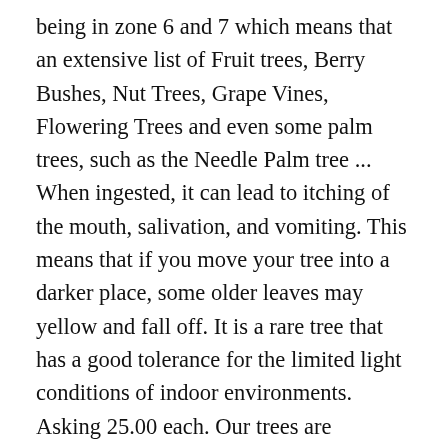being in zone 6 and 7 which means that an extensive list of Fruit trees, Berry Bushes, Nut Trees, Grape Vines, Flowering Trees and even some palm trees, such as the Needle Palm tree ... When ingested, it can lead to itching of the mouth, salivation, and vomiting. This means that if you move your tree into a darker place, some older leaves may yellow and fall off. It is a rare tree that has a good tolerance for the limited light conditions of indoor environments. Asking 25.00 each. Our trees are produced from branch cuttings taken from the best-quality forms of this tree, not grown as cheaper random seedlings. What is commonly referred to as a ficus is a weeping fig. Since it is evergreen, it also makes an excellent screening